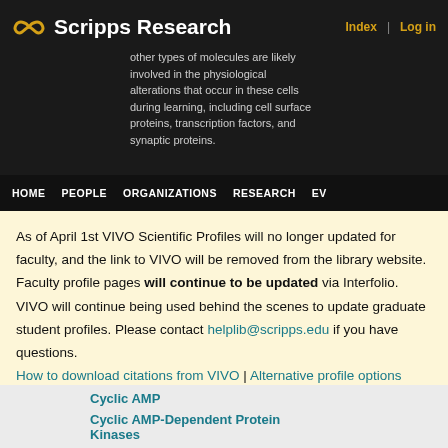Scripps Research — Index | Log in
however, many other types of molecules are likely involved in the physiological alterations that occur in these cells during learning, including cell surface proteins, transcription factors, and synaptic proteins.
HOME   PEOPLE   ORGANIZATIONS   RESEARCH   EV
As of April 1st VIVO Scientific Profiles will no longer updated for faculty, and the link to VIVO will be removed from the library website. Faculty profile pages will continue to be updated via Interfolio. VIVO will continue being used behind the scenes to update graduate student profiles. Please contact helplib@scripps.edu if you have questions.
How to download citations from VIVO | Alternative profile options
Cyclic AMP
Cyclic AMP-Dependent Protein Kinases
... more